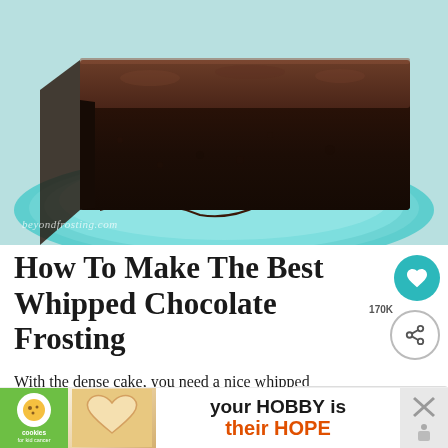[Figure (photo): A slice of dark chocolate cake with chocolate mousse frosting on a teal/turquoise plate, drizzled with chocolate sauce. Watermark reads beyondfrosting.com]
How To Make The Best Whipped Chocolate Frosting
With the dense cake, you need a nice whipped chocolate frosting to go along with it. The getting the frosting to the right consistency is for it to be
[Figure (infographic): WHAT'S NEXT banner with image of coconut cupcake. Text: Amazing Coconut...]
[Figure (infographic): Advertisement bar: cookies for kid cancer logo, heart-shaped cookie photo, text 'your HOBBY is their HOPE']